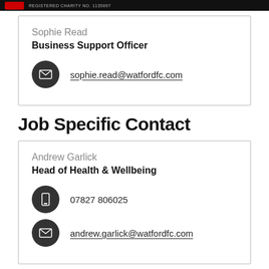REGISTERED CHARITY NO. 1135697
Sophie Read
Business Support Officer
sophie.read@watfordfc.com
Job Specific Contact
Andrew Garlick
Head of Health & Wellbeing
07827 806025
andrew.garlick@watfordfc.com